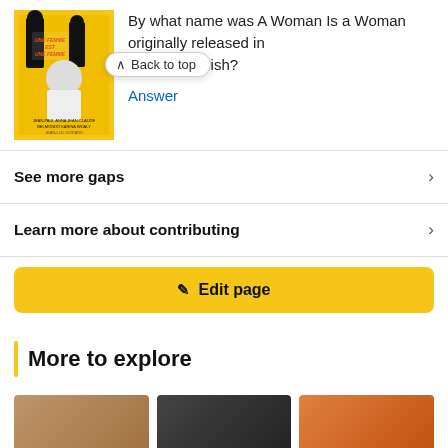[Figure (photo): Movie poster thumbnail for 'Une Femme Est Une Femme' with yellow background and actors]
By what name was A Woman Is a Woman originally released in India in English?
Back to top
Answer
See more gaps
Learn more about contributing
Edit page
More to explore
[Figure (photo): Three small thumbnail images for explore section]